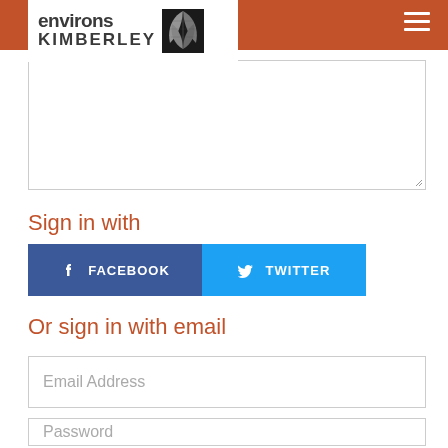environs KIMBERLEY
[Figure (screenshot): Textarea/comment input box with resize handle in bottom right corner]
Sign in with
[Figure (infographic): Facebook and Twitter social sign-in buttons side by side]
Or sign in with email
[Figure (screenshot): Email Address text input field]
[Figure (screenshot): Password text input field]